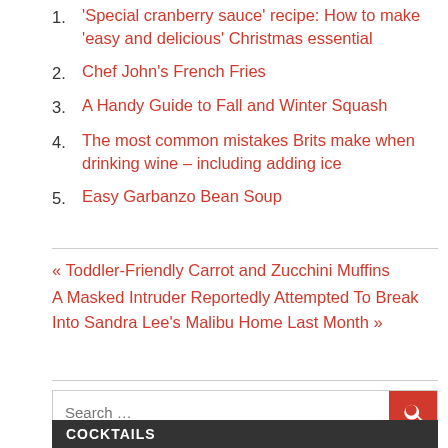1. 'Special cranberry sauce' recipe: How to make 'easy and delicious' Christmas essential
2. Chef John's French Fries
3. A Handy Guide to Fall and Winter Squash
4. The most common mistakes Brits make when drinking wine – including adding ice
5. Easy Garbanzo Bean Soup
« Toddler-Friendly Carrot and Zucchini Muffins
A Masked Intruder Reportedly Attempted To Break Into Sandra Lee's Malibu Home Last Month »
Search ...
COCKTAILS